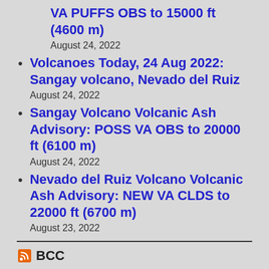VA PUFFS OBS to 15000 ft (4600 m)
August 24, 2022
Volcanoes Today, 24 Aug 2022: Sangay volcano, Nevado del Ruiz
August 24, 2022
Sangay Volcano Volcanic Ash Advisory: POSS VA OBS to 20000 ft (6100 m)
August 24, 2022
Nevado del Ruiz Volcano Volcanic Ash Advisory: NEW VA CLDS to 22000 ft (6700 m)
August 23, 2022
BCC